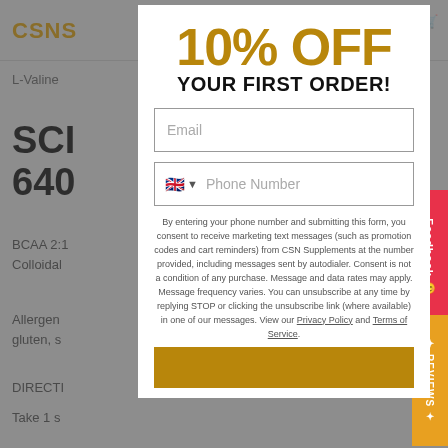CSNS
L-Valine
SCI 640
BCAA 2:1 Colloidal
Allergen gluten, s
DIRECTI
Take 1 s
[Figure (screenshot): Modal popup overlay showing 10% OFF YOUR FIRST ORDER promotional dialog with email and phone number input fields and legal consent text]
10% OFF
YOUR FIRST ORDER!
Email
Phone Number
By entering your phone number and submitting this form, you consent to receive marketing text messages (such as promotion codes and cart reminders) from CSN Supplements at the number provided, including messages sent by autodialer. Consent is not a condition of any purchase. Message and data rates may apply. Message frequency varies. You can unsubscribe at any time by replying STOP or clicking the unsubscribe link (where available) in one of our messages. View our Privacy Policy and Terms of Service.